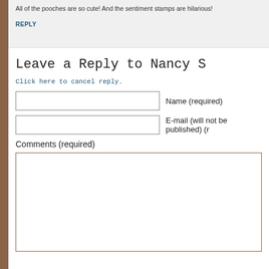All of the pooches are so cute! And the sentiment stamps are hilarious!
REPLY
Leave a Reply to Nancy S
Click here to cancel reply.
Name (required)
E-mail (will not be published) (r
Comments (required)